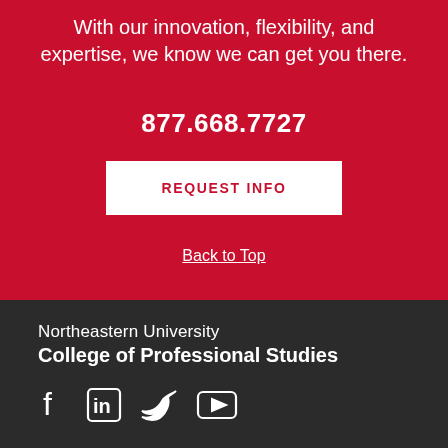With our innovation, flexibility, and expertise, we know we can get you there.
877.668.7727
REQUEST INFO
Back to Top
Northeastern University
College of Professional Studies
[Figure (other): Social media icons: Facebook, LinkedIn, Twitter, YouTube]